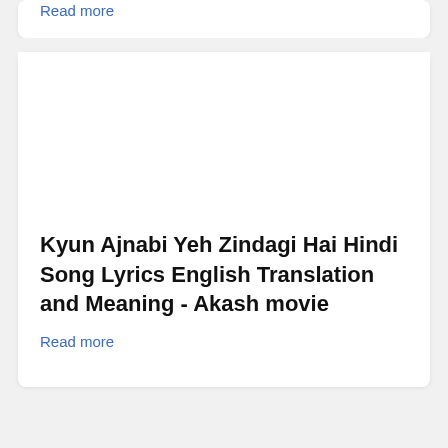Read more
Kyun Ajnabi Yeh Zindagi Hai Hindi Song Lyrics English Translation and Meaning - Akash movie
Read more